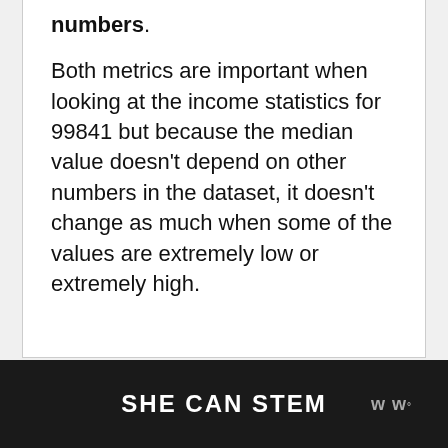numbers. Both metrics are important when looking at the income statistics for 99841 but because the median value doesn't depend on other numbers in the dataset, it doesn't change as much when some of the values are extremely low or extremely high.
SHE CAN STEM